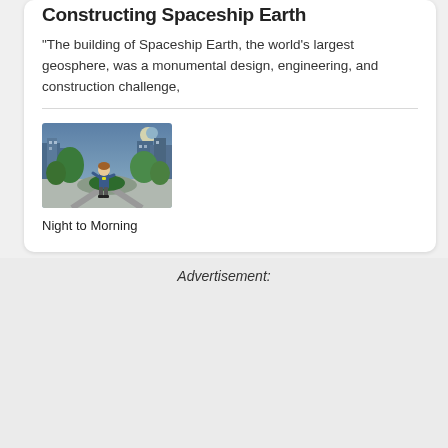Constructing Spaceship Earth
"The building of Spaceship Earth, the world’s largest geosphere, was a monumental design, engineering, and construction challenge,
[Figure (illustration): Animated cartoon scene showing a character standing in a park with trees and city buildings in the background at dusk/night with a crescent moon]
Night to Morning
Advertisement: